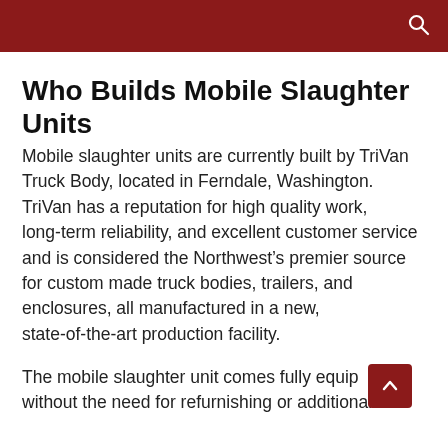Who Builds Mobile Slaughter Units
Mobile slaughter units are currently built by TriVan Truck Body, located in Ferndale, Washington. TriVan has a reputation for high quality work, long-term reliability, and excellent customer service and is considered the Northwest’s premier source for custom made truck bodies, trailers, and enclosures, all manufactured in a new, state-of-the-art production facility.
The mobile slaughter unit comes fully equipped without the need for refurnishing or additional